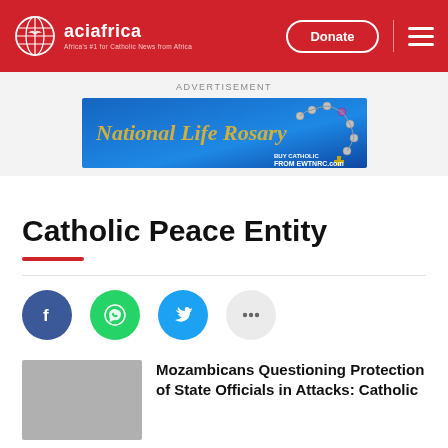aciafrica — Africa's #1 for Catholic news from Africa, Donate, Menu
[Figure (infographic): National Life Rosary advertisement banner with blue gradient background and rosary beads, text reads National Life Rosary, buy Catholic from EWTNRC.com]
Catholic Peace Entity
[Figure (infographic): Social sharing buttons: Facebook (dark blue), WhatsApp (green), Twitter (light blue), More options (grey with ellipsis)]
Mozambicans Questioning Protection of State Officials in Attacks: Catholic